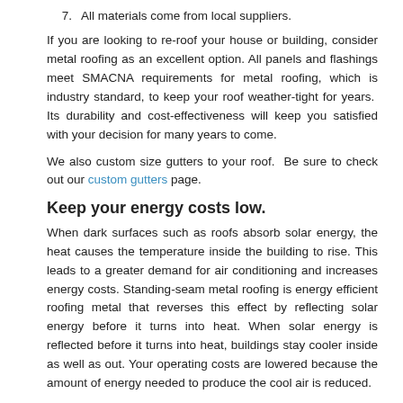7.   All materials come from local suppliers.
If you are looking to re-roof your house or building, consider metal roofing as an excellent option. All panels and flashings meet SMACNA requirements for metal roofing, which is industry standard, to keep your roof weather-tight for years.  Its durability and cost-effectiveness will keep you satisfied with your decision for many years to come.
We also custom size gutters to your roof.  Be sure to check out our custom gutters page.
Keep your energy costs low.
When dark surfaces such as roofs absorb solar energy, the heat causes the temperature inside the building to rise. This leads to a greater demand for air conditioning and increases energy costs. Standing-seam metal roofing is energy efficient roofing metal that reverses this effect by reflecting solar energy before it turns into heat. When solar energy is reflected before it turns into heat, buildings stay cooler inside as well as out. Your operating costs are lowered because the amount of energy needed to produce the cool air is reduced.